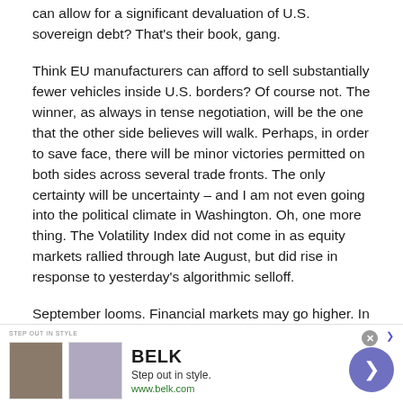can allow for a significant devaluation of U.S. sovereign debt? That's their book, gang.
Think EU manufacturers can afford to sell substantially fewer vehicles inside U.S. borders? Of course not. The winner, as always in tense negotiation, will be the one that the other side believes will walk. Perhaps, in order to save face, there will be minor victories permitted on both sides across several trade fronts. The only certainty will be uncertainty – and I am not even going into the political climate in Washington. Oh, one more thing. The Volatility Index did not come in as equity markets rallied through late August, but did rise in response to yesterday's algorithmic selloff.
September looms. Financial markets may go higher. In fact,
[Figure (screenshot): Advertisement banner for BELK department store with tagline 'Step out in style.' and URL www.belk.com, featuring two product images and a navigation arrow button.]